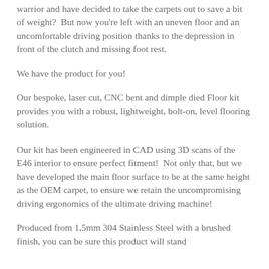warrior and have decided to take the carpets out to save a bit of weight?  But now you're left with an uneven floor and an uncomfortable driving position thanks to the depression in front of the clutch and missing foot rest.
We have the product for you!
Our bespoke, laser cut, CNC bent and dimple died Floor kit provides you with a robust, lightweight, bolt-on, level flooring solution.
Our kit has been engineered in CAD using 3D scans of the E46 interior to ensure perfect fitment!  Not only that, but we have developed the main floor surface to be at the same height as the OEM carpet, to ensure we retain the uncompromising driving ergonomics of the ultimate driving machine!
Produced from 1,5mm 304 Stainless Steel with a brushed finish, you can be sure this product will stand